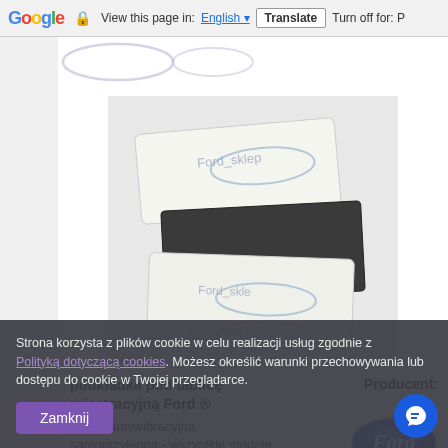Google  View this page in: English  Translate  Turn off for: P
[Figure (photo): Product photo showing Ford_sklep branded packaging/foam pads stacked, with Ford_sklep watermark text on each piece]
podkładka pod tablicę rejestracyjną Ford ®
Producent:
[Figure (logo): Ford oval blue logo]
gąbka antywibracyjna, samoprzylepna - wszystkie modele
Strona korzysta z plików cookie w celu realizacji usług zgodnie z Polityką dotyczącą cookies. Możesz określić warunki przechowywania lub dostępu do cookie w Twojej przeglądarce.
Zamknij